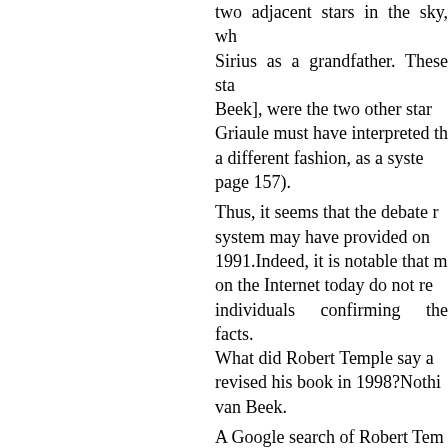two adjacent stars in the sky, wh Sirius as a grandfather. These sta Beek], were the two other star Griaule must have interpreted th a different fashion, as a syste page 157).
Thus, it seems that the debate r system may have provided on 1991.Indeed, it is notable that m on the Internet today do not r individuals confirming the facts. What did Robert Temple say revised his book in 1998?Nothi van Beek.
A Google search of Robert Tem find any reference to van Beek, some of Robert Temple's comm sceptics since1976.
SECTION 7: CONCLUSION
Articles continue to be written mystery which ignore various c numerous sceptics since the ti